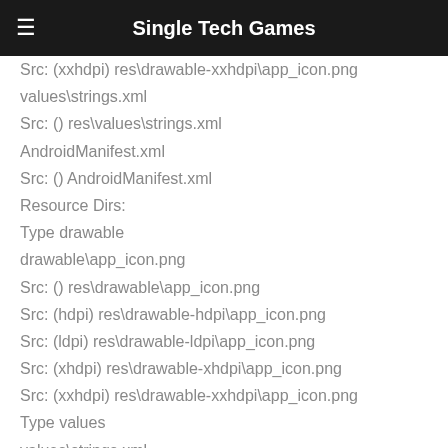Single Tech Games
Src: (xxhdpi) res\drawable-xxhdpi\app_icon.png
values\strings.xml
Src: () res\values\strings.xml
AndroidManifest.xml
Src: () AndroidManifest.xml
Resource Dirs:
Type drawable
drawable\app_icon.png
Src: () res\drawable\app_icon.png
Src: (hdpi) res\drawable-hdpi\app_icon.png
Src: (ldpi) res\drawable-ldpi\app_icon.png
Src: (xhdpi) res\drawable-xhdpi\app_icon.png
Src: (xxhdpi) res\drawable-xxhdpi\app_icon.png
Type values
values\strings.xml
Src: () res\values\strings.xml
Including resources from package: